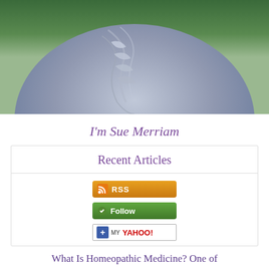[Figure (photo): Close-up photo of a person wearing a gray ruffled top, from shoulders to waist, with a green leafy background]
I'm Sue Merriam
Recent Articles
[Figure (other): RSS subscription button (orange), Follow button (green), My Yahoo! button]
What Is Homeopathic Medicine? One of